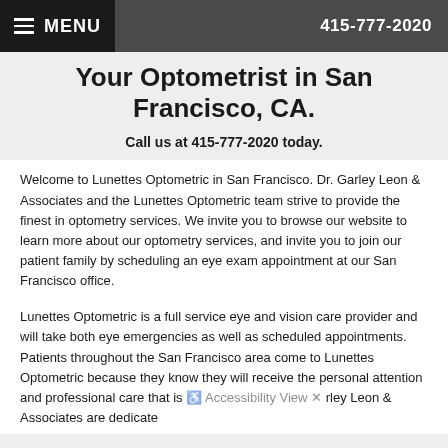MENU | 415-777-2020
Your Optometrist in San Francisco, CA.
Call us at 415-777-2020 today.
Welcome to Lunettes Optometric in San Francisco. Dr. Garley Leon & Associates and the Lunettes Optometric team strive to provide the finest in optometry services. We invite you to browse our website to learn more about our optometry services, and invite you to join our patient family by scheduling an eye exam appointment at our San Francisco office.
Lunettes Optometric is a full service eye and vision care provider and will take both eye emergencies as well as scheduled appointments. Patients throughout the San Francisco area come to Lunettes Optometric because they know they will receive the personal attention and professional care that is offered by Dr. Garley Leon & Associates are dedicate…